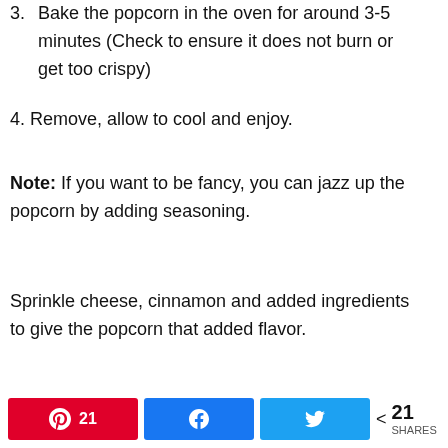3. Bake the popcorn in the oven for around 3-5 minutes (Check to ensure it does not burn or get too crispy)
4. Remove, allow to cool and enjoy.
Note: If you want to be fancy, you can jazz up the popcorn by adding seasoning.
Sprinkle cheese, cinnamon and added ingredients to give the popcorn that added flavor.
< 21 SHARES [Pinterest 21] [Facebook share] [Twitter share]